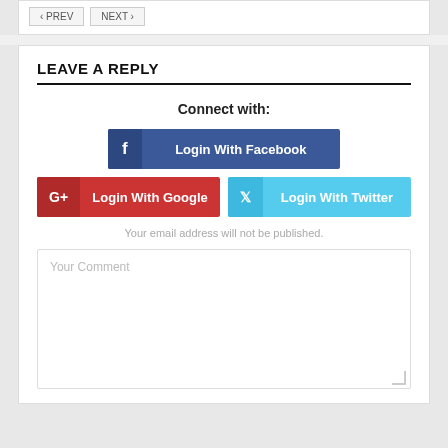LEAVE A REPLY
Connect with:
[Figure (screenshot): Login with Facebook button (dark blue), Login with Google button (red), Login with Twitter button (light blue)]
Your email address will not be published.
Your Comment